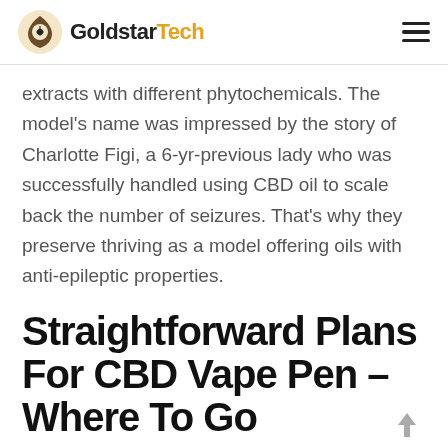GoldstarTech
extracts with different phytochemicals. The model's name was impressed by the story of Charlotte Figi, a 6-yr-previous lady who was successfully handled using CBD oil to scale back the number of seizures. That's why they preserve thriving as a model offering oils with anti-epileptic properties.
Straightforward Plans For CBD Vape Pen – Where To Go
The Facts On